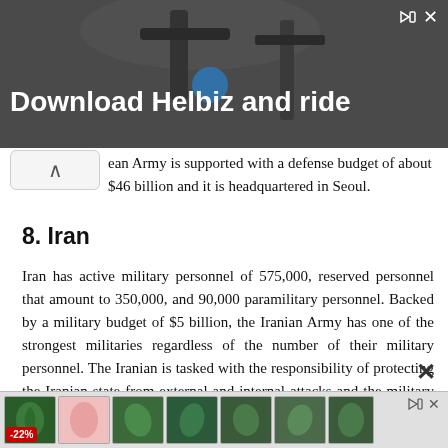[Figure (screenshot): Advertisement banner showing 'Download Helbiz and ride' with a scooter/bike handlebar image in dark background]
ean Army is supported with a defense budget of about $46 billion and it is headquartered in Seoul.
8. Iran
Iran has active military personnel of 575,000, reserved personnel that amount to 350,000, and 90,000 paramilitary personnel. Backed by a military budget of $5 billion, the Iranian Army has one of the strongest militaries regardless of the number of their military personnel. The Iranian is tasked with the responsibility of protecting the Iranian state from external and internal attacks and the military headquarters of the Iranian Army is situated in Tehra
[Figure (screenshot): Bottom advertisement strip with thumbnail images and -22% badge]